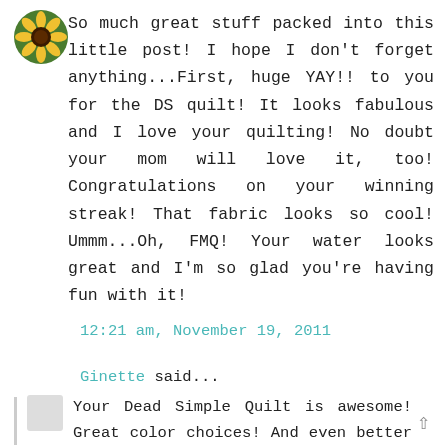[Figure (photo): Round avatar image of a yellow flower (black-eyed Susan) against green background]
So much great stuff packed into this little post! I hope I don't forget anything...First, huge YAY!! to you for the DS quilt! It looks fabulous and I love your quilting! No doubt your mom will love it, too! Congratulations on your winning streak! That fabric looks so cool! Ummm...Oh, FMQ! Your water looks great and I'm so glad you're having fun with it!
12:21 am, November 19, 2011
Ginette said...
Your Dead Simple Quilt is awesome! Great color choices! And even better that it's been "little girl approved"!!